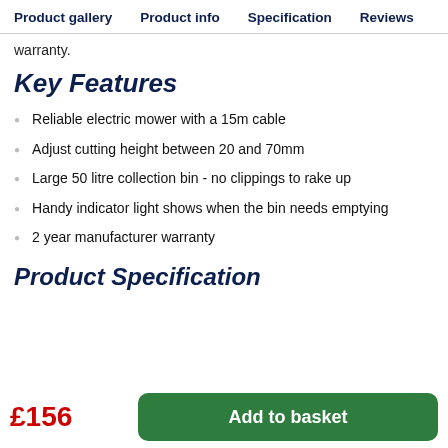Product gallery   Product info   Specification   Reviews
warranty.
Key Features
Reliable electric mower with a 15m cable
Adjust cutting height between 20 and 70mm
Large 50 litre collection bin - no clippings to rake up
Handy indicator light shows when the bin needs emptying
2 year manufacturer warranty
Product Specification
£156
Add to basket